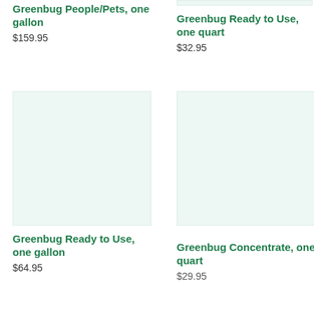[Figure (photo): Product image placeholder - light green/mint background (partially cropped at top)]
Greenbug People/Pets, one gallon
$159.95
[Figure (photo): Product image placeholder - light green/mint background (partially cropped at top)]
Greenbug Ready to Use, one quart
$32.95
[Figure (photo): Product image placeholder - light green/mint background, full image]
Greenbug Ready to Use, one gallon
$64.95
[Figure (photo): Product image placeholder - light green/mint background, full image]
Greenbug Concentrate, one quart
$29.95